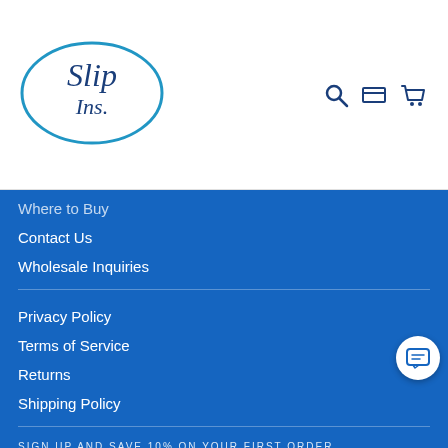[Figure (logo): SlipIns logo in a teal oval, with search, site, and cart icons on the right]
Where to Buy
Contact Us
Wholesale Inquiries
Privacy Policy
Terms of Service
Returns
Shipping Policy
SIGN UP AND SAVE 10% ON YOUR FIRST ORDER
[Figure (other): Payment method icons: Amex, Apple Pay, Diners Club, Discover, Meta Pay, Mastercard, PayPal, ShopPay, Venmo, Visa]